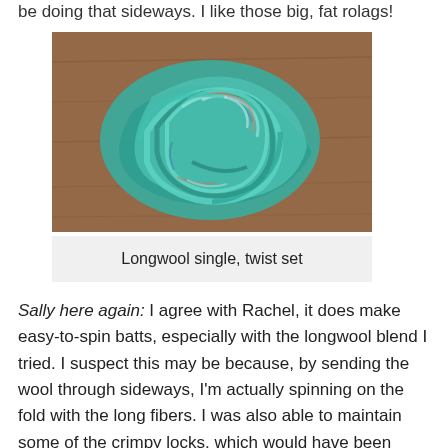be doing that sideways. I like those big, fat rolags!
[Figure (photo): A skein of handspun yarn in teal/turquoise colors with hints of pink and blue, coiled on a wooden surface.]
Longwool single, twist set
Sally here again: I agree with Rachel, it does make easy-to-spin batts, especially with the longwool blend I tried. I suspect this may be because, by sending the wool through sideways, I'm actually spinning on the fold with the long fibers. I was also able to maintain some of the crimpy locks, which would have been carded apart going